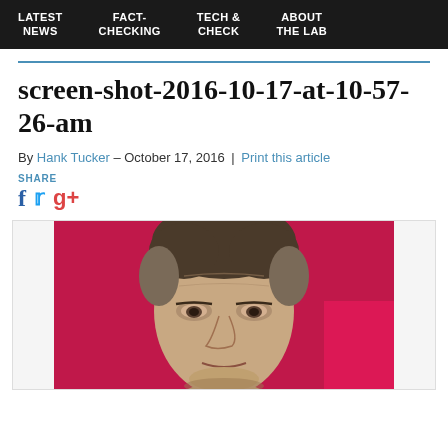LATEST NEWS | FACT-CHECKING | TECH & CHECK | ABOUT THE LAB
screen-shot-2016-10-17-at-10-57-26-am
By Hank Tucker – October 17, 2016 | Print this article
SHARE
[Figure (photo): Close-up photo of a man's face against a pink/magenta background]